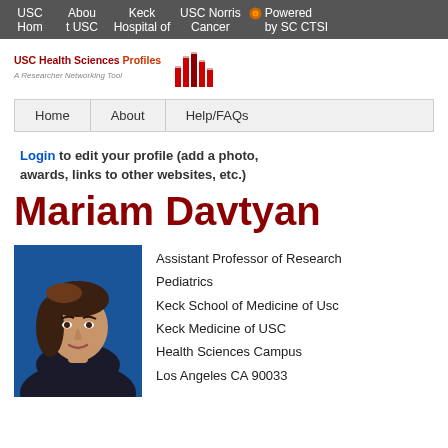USC Hom | About USC | Keck Hospital of | USC Norris Cancer | Powered by SC CTSI
[Figure (logo): USC Health Sciences Profiles - A Researcher Networking Tool logo with stylized bar chart graphic]
Home | About | Help/FAQs
Login to edit your profile (add a photo, awards, links to other websites, etc.)
Mariam Davtyan
[Figure (photo): Headshot photo of Mariam Davtyan, a woman with long brown hair against a blue background, wearing dark clothing]
Assistant Professor of Research Pediatrics
Keck School of Medicine of Usc
Keck Medicine of USC
Health Sciences Campus
Los Angeles CA 90033